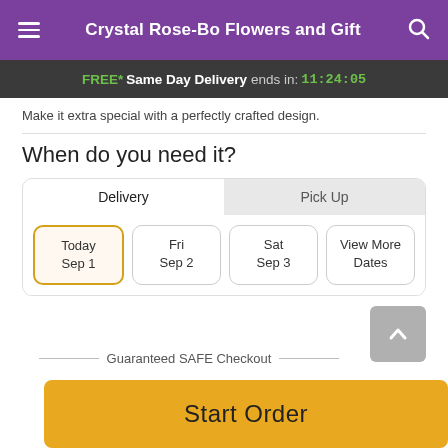Crystal Rose-Bo Flowers and Gift
FREE* Same Day Delivery ends in: 11:24:05
Make it extra special with a perfectly crafted design.
When do you need it?
Delivery | Pick Up
Today Sep 1 | Fri Sep 2 | Sat Sep 3 | View More Dates
Guaranteed SAFE Checkout
Start Order